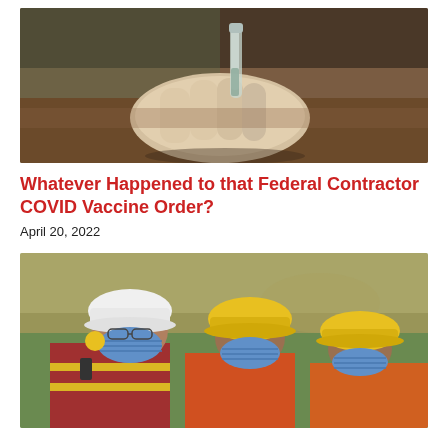[Figure (photo): Close-up photo of a gloved hand holding a small glass vial or test tube, suggesting medical/vaccine testing.]
Whatever Happened to that Federal Contractor COVID Vaccine Order?
April 20, 2022
[Figure (photo): Photo of three construction workers wearing hard hats (white and yellow) and blue face masks, with high-visibility vests, viewed from the side.]